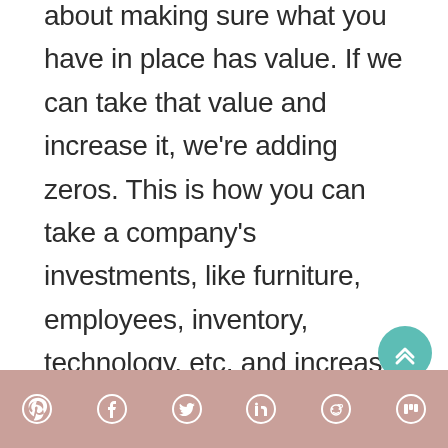about making sure what you have in place has value. If we can take that value and increase it, we're adding zeros. This is how you can take a company's investments, like furniture, employees, inventory, technology, etc, and increase its value. By increasing one, you increase the other for exponential growth.
[social icons: Pinterest, Facebook, Twitter, LinkedIn, Reddit, Mix]